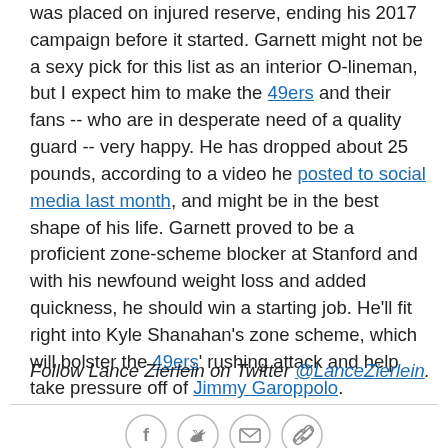was placed on injured reserve, ending his 2017 campaign before it started. Garnett might not be a sexy pick for this list as an interior O-lineman, but I expect him to make the 49ers and their fans -- who are in desperate need of a quality guard -- very happy. He has dropped about 25 pounds, according to a video he posted to social media last month, and might be in the best shape of his life. Garnett proved to be a proficient zone-scheme blocker at Stanford and with his newfound weight loss and added quickness, he should win a starting job. He'll fit right into Kyle Shanahan's zone scheme, which will bolster the 49ers' rushing attack and help take pressure off of Jimmy Garoppolo.
Follow Lance Zierlein on Twitter @LanceZierlein.
[Figure (other): Social media sharing icons: Facebook, Twitter, Email, Link]